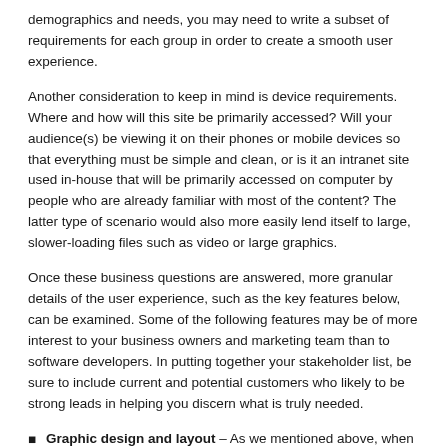demographics and needs, you may need to write a subset of requirements for each group in order to create a smooth user experience.
Another consideration to keep in mind is device requirements. Where and how will this site be primarily accessed? Will your audience(s) be viewing it on their phones or mobile devices so that everything must be simple and clean, or is it an intranet site used in-house that will be primarily accessed on computer by people who are already familiar with most of the content? The latter type of scenario would also more easily lend itself to large, slower-loading files such as video or large graphics.
Once these business questions are answered, more granular details of the user experience, such as the key features below, can be examined. Some of the following features may be of more interest to your business owners and marketing team than to software developers. In putting together your stakeholder list, be sure to include current and potential customers who likely to be strong leads in helping you discern what is truly needed.
Graphic design and layout – As we mentioned above, when a site is customer-facing (or even if it's not), prototyping can be essential in